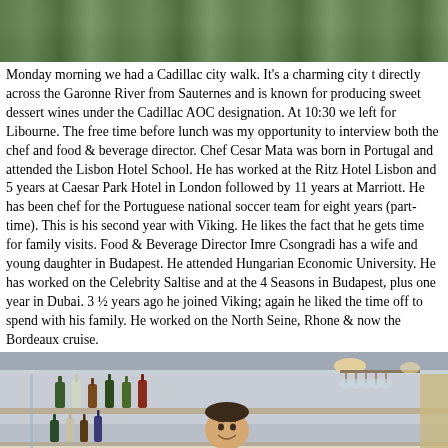[Figure (photo): Top portion of an outdoor scene, likely a garden or vineyard with green foliage]
Monday morning we had a Cadillac city walk. It's a charming city t directly across the Garonne River from Sauternes and is known for producing sweet dessert wines under the Cadillac AOC designation. At 10:30 we left for Libourne. The free time before lunch was my opportunity to interview both the chef and food & beverage director. Chef Cesar Mata was born in Portugal and attended the Lisbon Hotel School. He has worked at the Ritz Hotel Lisbon and 5 years at Caesar Park Hotel in London followed by 11 years at Marriott. He has been chef for the Portuguese national soccer team for eight years (part-time). This is his second year with Viking. He likes the fact that he gets time for family visits. Food & Beverage Director Imre Csongradi has a wife and young daughter in Budapest. He attended Hungarian Economic University. He has worked on the Celebrity Saltise and at the 4 Seasons in Budapest, plus one year in Dubai. 3 ½ years ago he joined Viking; again he liked the time off to spend with his family. He worked on the North Seine, Rhone & now the Bordeaux cruise.
[Figure (photo): Interior bar scene with bottles on shelves, a smiling man behind the bar, and wine glasses hanging from a rack]